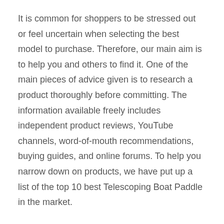It is common for shoppers to be stressed out or feel uncertain when selecting the best model to purchase. Therefore, our main aim is to help you and others to find it. One of the main pieces of advice given is to research a product thoroughly before committing. The information available freely includes independent product reviews, YouTube channels, word-of-mouth recommendations, buying guides, and online forums. To help you narrow down on products, we have put up a list of the top 10 best Telescoping Boat Paddle in the market.
Factors considered when assembling the list.
• Value for money: As people commonly say, "we get what we pay for." Therefore, buying a cheap product...